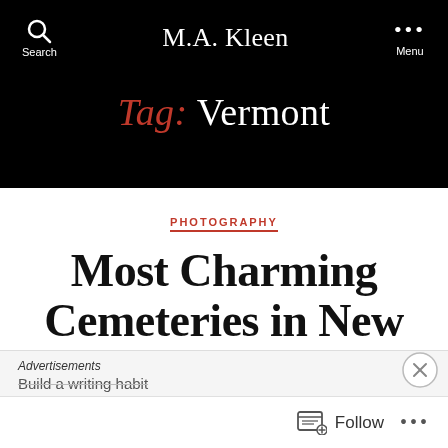Search   M.A. Kleen   Menu
Tag: Vermont
PHOTOGRAPHY
Most Charming Cemeteries in New England
Advertisements
Build a writing habit
Follow ...